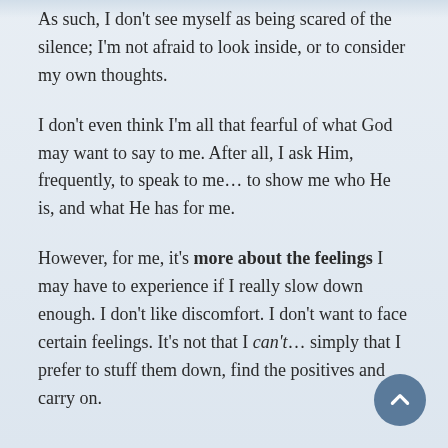As such, I don't see myself as being scared of the silence; I'm not afraid to look inside, or to consider my own thoughts.
I don't even think I'm all that fearful of what God may want to say to me. After all, I ask Him, frequently, to speak to me… to show me who He is, and what He has for me.
However, for me, it's more about the feelings I may have to experience if I really slow down enough. I don't like discomfort. I don't want to face certain feelings. It's not that I can't… simply that I prefer to stuff them down, find the positives and carry on.